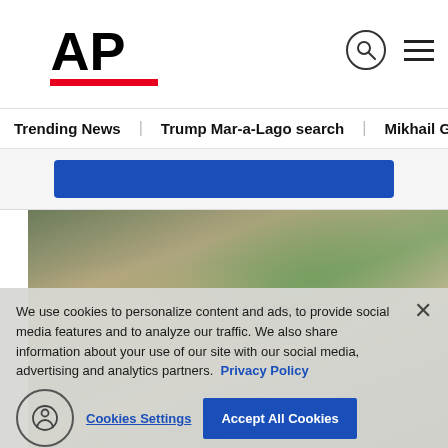AP
Trending News
Trump Mar-a-Lago search
Mikhail Gorbachev d
[Figure (photo): News photo showing a person in blue uniform with hands covering their face, standing outdoors near buildings and trees]
We use cookies to personalize content and ads, to provide social media features and to analyze our traffic. We also share information about your use of our site with our social media, advertising and analytics partners. Privacy Policy
Cookies Settings   Accept All Cookies
Red flag laws little use as shootings, gu